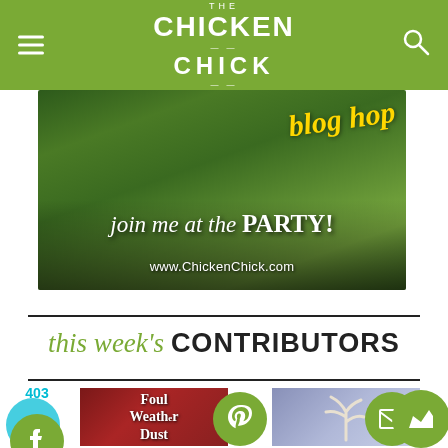THE CHICKEN CHICK
[Figure (photo): Blog hop promotional banner showing a woman in a garden with yellow flowers and chicks, text reads 'blog hop', 'join me at the PARTY!', 'www.ChickenChick.com']
this week's CONTRIBUTORS
[Figure (photo): Thumbnail image showing 'Foul Weather Dust' text with rooster/chicken in winter scene]
[Figure (photo): Thumbnail showing white branch/coral-like decoration on blue background]
[Figure (other): Social media sharing buttons: Facebook (403 shares), Pinterest, Email, WhatsApp, Crown/Bloglovin icons]